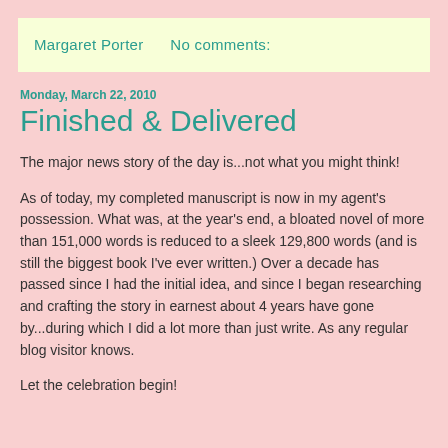Margaret Porter    No comments:
Monday, March 22, 2010
Finished & Delivered
The major news story of the day is...not what you might think!
As of today, my completed manuscript is now in my agent's possession. What was, at the year's end, a bloated novel of more than 151,000 words is reduced to a sleek 129,800 words (and is still the biggest book I've ever written.) Over a decade has passed since I had the initial idea, and since I began researching and crafting the story in earnest about 4 years have gone by...during which I did a lot more than just write. As any regular blog visitor knows.
Let the celebration begin!